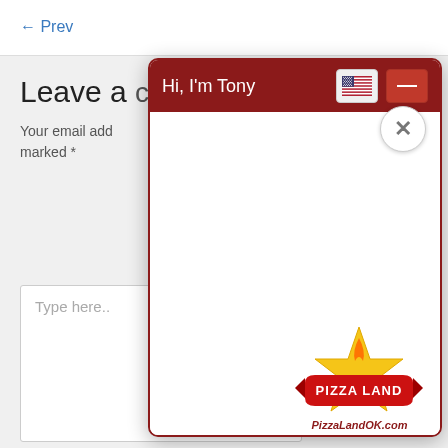← Prev
Leave a
Your email add
marked *
Type here..
[Figure (screenshot): Chat widget overlay with dark red header reading 'Hi, I'm Tony', US flag button, minimize button, close X button, white body area, and Pizza Land logo at bottom with PizzaLandOK.com URL]